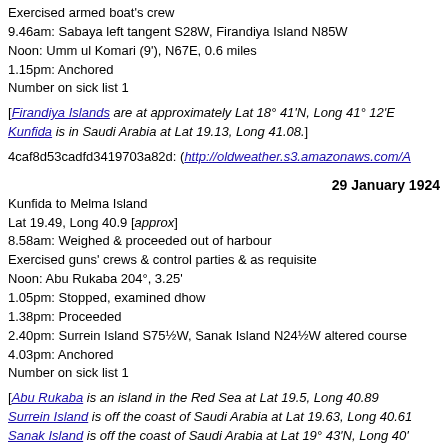Exercised armed boat's crew
9.46am: Sabaya left tangent S28W, Firandiya Island N85W
Noon: Umm ul Komari (9'), N67E, 0.6 miles
1.15pm: Anchored
Number on sick list 1
[Firandiya Islands are at approximately Lat 18° 41'N, Long 41° 12'E Kunfida is in Saudi Arabia at Lat 19.13, Long 41.08.]
4caf8d53cadfd3419703a82d: (http://oldweather.s3.amazonaws.com/A
29 January 1924
Kunfida to Melma Island
Lat 19.49, Long 40.9 [approx]
8.58am: Weighed & proceeded out of harbour
Exercised guns' crews & control parties & as requisite
Noon: Abu Rukaba 204°, 3.25'
1.05pm: Stopped, examined dhow
1.38pm: Proceeded
2.40pm: Surrein Island S75½W, Sanak Island N24½W altered course
4.03pm: Anchored
Number on sick list 1
[Abu Rukaba is an island in the Red Sea at Lat 19.5, Long 40.89 Surrein Island is off the coast of Saudi Arabia at Lat 19.63, Long 40.61 Sanak Island is off the coast of Saudi Arabia at Lat 19° 43'N, Long 40' Melma Island is at Lat 19.76, Long 40.6.]
4caf8d53cadfd3419703a82e: (http://oldweather.s3.amazonaws.com/A